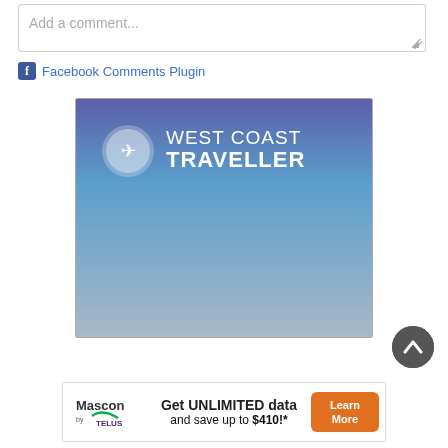Add a comment...
Facebook Comments Plugin
[Figure (logo): West Coast Traveller logo banner with gradient blue background, airplane icon, and text 'WEST COAST TRAVELLER']
[Figure (illustration): Scroll-to-top circular dark grey button with upward chevron arrow]
[Figure (infographic): Mascon by TELUS advertisement: 'Get UNLIMITED data and save up to $410!*' with Learn More orange button]